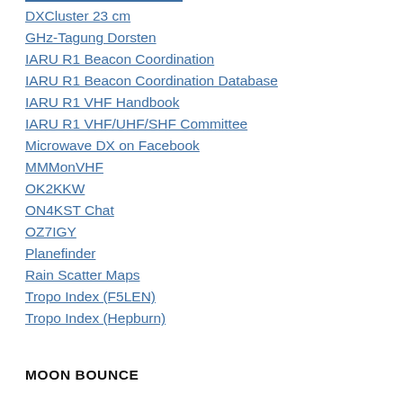DXCluster 23 cm
GHz-Tagung Dorsten
IARU R1 Beacon Coordination
IARU R1 Beacon Coordination Database
IARU R1 VHF Handbook
IARU R1 VHF/UHF/SHF Committee
Microwave DX on Facebook
MMMonVHF
OK2KKW
ON4KST Chat
OZ7IGY
Planefinder
Rain Scatter Maps
Tropo Index (F5LEN)
Tropo Index (Hepburn)
MOON BOUNCE